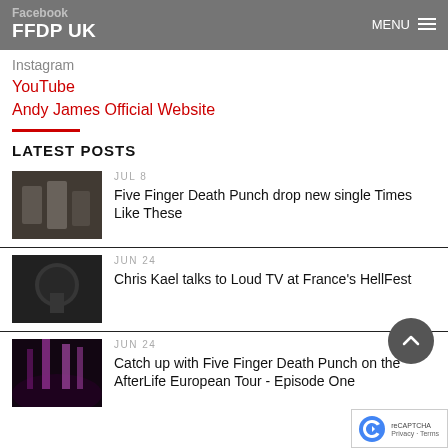Facebook
FFDP UK
MENU
Instagram
YouTube
Andy James Official Website
LATEST POSTS
JUL 8
Five Finger Death Punch drop new single Times Like These
JUN 24
Chris Kael talks to Loud TV at France's HellFest
JUN 24
Catch up with Five Finger Death Punch on the AfterLife European Tour - Episode One